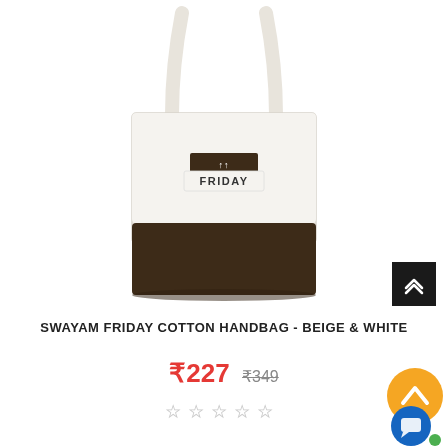[Figure (photo): Product photo of a tote handbag with white upper body featuring a brown rectangle label with 'FRIDAY' text, and a dark brown bottom panel, with long cream-colored straps on a white background]
SWAYAM FRIDAY COTTON HANDBAG - BEIGE & WHITE
₹227  ₹349
★☆☆☆☆ (star rating, all empty)